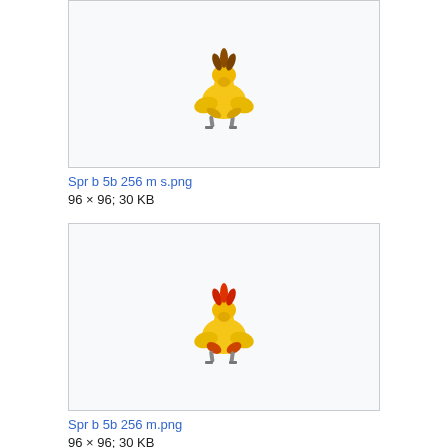[Figure (illustration): A pixel-art style illustration of a Pidgeot (back sprite) Pokémon, shown from behind, with brown head feathers, yellow body, and grey feet, on a light grey background.]
Spr b 5b 256 m s.png
96 × 96; 30 KB
[Figure (illustration): A pixel-art style illustration of a Pidgeot (back sprite) Pokémon in shiny coloring, shown from behind, with red/orange head feathers, yellow body, and grey feet, on a light grey background.]
Spr b 5b 256 m.png
96 × 96; 30 KB
[Figure (illustration): Partially visible image box at the bottom of the page.]